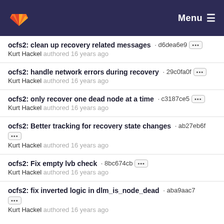GitLab — Menu
ocfs2: clean up recovery related messages · d6dea6e9 — Kurt Hackel authored 16 years ago
ocfs2: handle network errors during recovery · 29c0fa0f — Kurt Hackel authored 16 years ago
ocfs2: only recover one dead node at a time · c3187ce5 — Kurt Hackel authored 16 years ago
ocfs2: Better tracking for recovery state changes · ab27eb6f — Kurt Hackel authored 16 years ago
ocfs2: Fix empty lvb check · 8bc674cb — Kurt Hackel authored 16 years ago
ocfs2: fix inverted logic in dlm_is_node_dead · aba9aac7 — Kurt Hackel authored 16 years ago